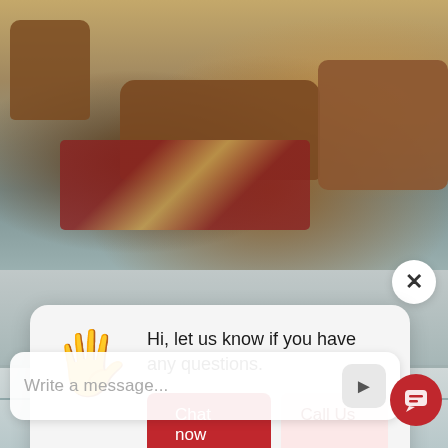[Figure (photo): Interior photo of a rustic living room with leather sofas, rocking chair, decorative rug, and stone fireplace visible in the background.]
[Figure (screenshot): Website chat widget popup overlay on a bathroom photo background, showing a waving hand emoji, greeting text, Chat now / Call Us / Just Browsing buttons, and a message input bar with a red chat icon.]
Hi, let us know if you have any questions.
Chat now
Call Us
Just Browsing
Write a message...